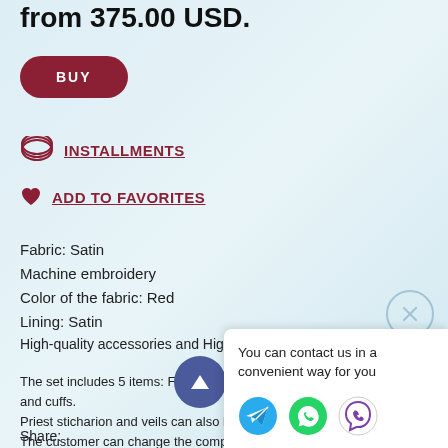from 375.00 USD.
BUY
INSTALLMENTS
ADD TO FAVORITES
Fabric: Satin
Machine embroidery
Color of the fabric: Red
Lining: Satin
High-quality accessories and High-quality metal buttons
The set includes 5 items: Felon, epitrach and cuffs.
Priest sticharion and veils can also be added.
The customer can change the composition and choose another fixture or color of the fabric.
Share:
You can contact us in a convenient way for you